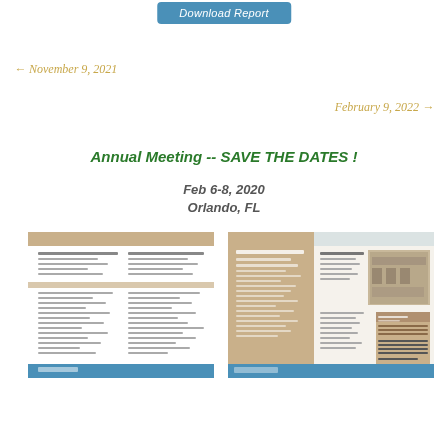Download Report
← November 9, 2021
February 9, 2022 →
Annual Meeting -- SAVE THE DATES !
Feb 6-8, 2020
Orlando, FL
[Figure (photo): Left brochure document showing 2019 AIGA annual meeting agenda/program in tan and white with blue footer bar]
[Figure (photo): Right side showing 2020 AIGA annual meeting brochure with tan cover panel and photo of building on right side, blue bottom bar]